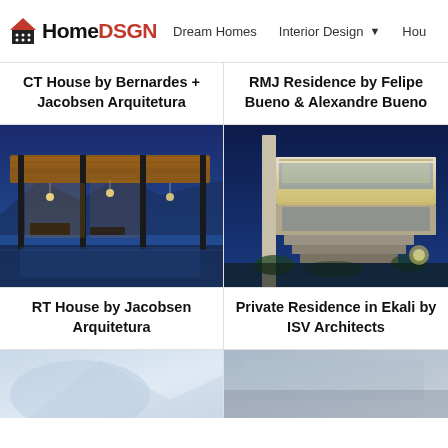HomeDSGN | Dream Homes | Interior Design
CT House by Bernardes + Jacobsen Arquitetura
RMJ Residence by Felipe Bueno & Alexandre Bueno
[Figure (photo): Night exterior photo of RT House by Jacobsen Arquitetura — illuminated covered patio with wooden ceiling and dark steel columns, warm interior lighting against deep blue twilight sky]
[Figure (photo): Night exterior photo of Private Residence in Ekali by ISV Architects — modern white rectangular building with lit steps and landscaping against deep blue night sky]
RT House by Jacobsen Arquitetura
Private Residence in Ekali by ISV Architects
[Figure (photo): Partial view of bottom-left house image (cropped, light blue/grey tones)]
[Figure (photo): Partial view of bottom-right house image (cropped, blurred)]